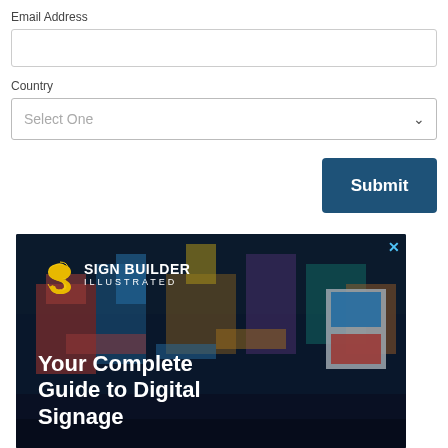Email Address
Country
Select One
Submit
[Figure (photo): Sign Builder Illustrated advertisement showing Times Square at night with digital signs. Text reads 'Your Complete Guide to Digital Signage'. Yellow and white logo with letter S on left.]